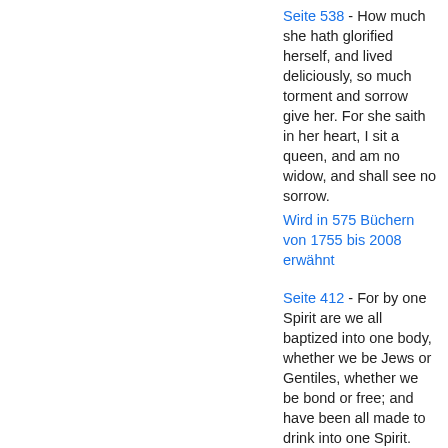Seite 538 - How much she hath glorified herself, and lived deliciously, so much torment and sorrow give her. For she saith in her heart, I sit a queen, and am no widow, and shall see no sorrow.
Wird in 575 Büchern von 1755 bis 2008 erwähnt
Seite 412 - For by one Spirit are we all baptized into one body, whether we be Jews or Gentiles, whether we be bond or free; and have been all made to drink into one Spirit.
Wird in 1014 Büchern von 1710 bis 2008